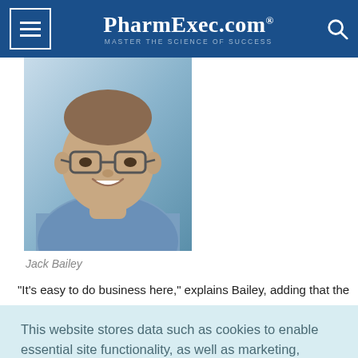PharmExec.com — MASTER THE SCIENCE OF SUCCESS
[Figure (photo): Headshot of Jack Bailey, a middle-aged man with glasses, smiling, wearing a blue patterned shirt, with a blurred background]
Jack Bailey
“It’s easy to do business here,” explains Bailey, adding that the
This website stores data such as cookies to enable essential site functionality, as well as marketing, personalization, and analytics. Cookie Policy
Accept
Deny